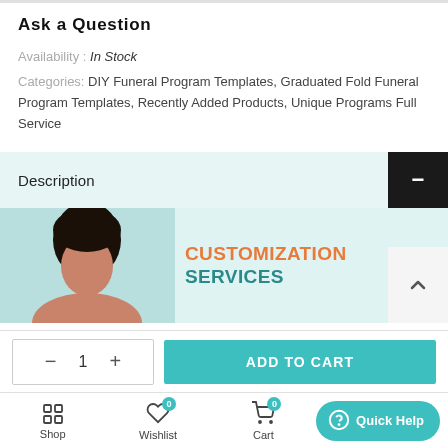Ask a Question
Availability : In Stock
Categories: DIY Funeral Program Templates, Graduated Fold Funeral Program Templates, Recently Added Products, Unique Programs Full Service
Description
[Figure (photo): Customization Services promotional banner with a person and text reading CUSTOMIZATION SERVICES]
- 1 + ADD TO CART
Shop  Wishlist 0  Cart 0  Quick Help